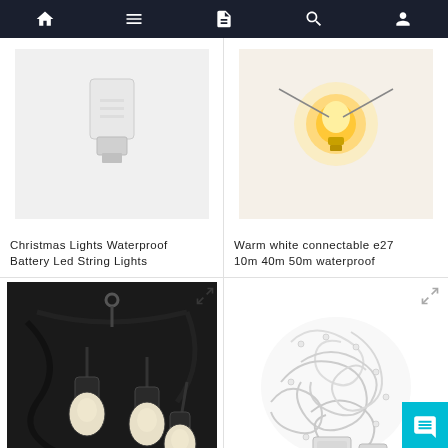Navigation bar with home, menu, document, search, and profile icons
[Figure (photo): Product photo of Christmas Lights Waterproof Battery Led String Lights - partial view showing bulb socket]
Christmas Lights Waterproof Battery Led String Lights
[Figure (photo): Product photo of Warm white connectable e27 10m 40m 50m waterproof string lights - partial view showing glowing bulb]
Warm white connectable e27 10m 40m 50m waterproof
[Figure (photo): Product photo of 100m heavy duty US AU british standard plug custom outdoor string lights with hanging Edison bulbs on black cable]
100m heavy duty US AU british standard plug custom
[Figure (photo): Product photo of 10/20/30/50/100m 220V christmas lights 8modes - coiled white LED string lights with controller and plug]
10/20/30/50/100m 220V christmas lights 8modes F